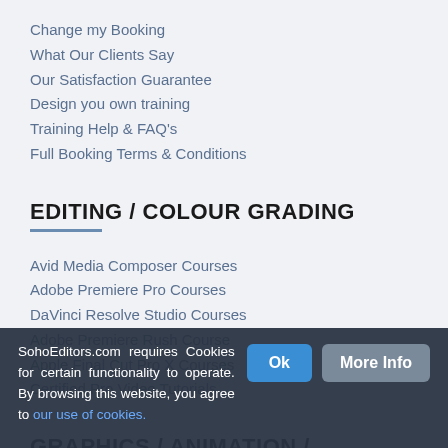Change my Booking
What Our Clients Say
Our Satisfaction Guarantee
Design you own training
Training Help & FAQ's
Full Booking Terms & Conditions
EDITING / COLOUR GRADING
Avid Media Composer Courses
Adobe Premiere Pro Courses
DaVinci Resolve Studio Courses
Adobe Premiere Rush Course
Apple Final Cut Pro X Courses
Certified Pro Video Tutorials
GRAPHICS / ANIMATION / EFFECTS
SohoEditors.com requires Cookies for certain functionality to operate. By browsing this website, you agree to our use of cookies.